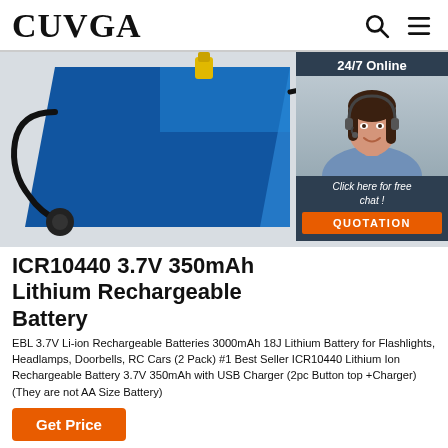CUVGA
[Figure (photo): Product photo of a blue lithium battery pack with wires and a red circle overlay with partial text 'THE BAT IS WATE'. A customer service chat widget with a female agent wearing a headset is overlaid on the right, with '24/7 Online' header, 'Click here for free chat!' text, and an orange QUOTATION button.]
ICR10440 3.7V 350mAh Lithium Rechargeable Battery
EBL 3.7V Li-ion Rechargeable Batteries 3000mAh 18J Lithium Battery for Flashlights, Headlamps, Doorbells, RC Cars (2 Pack) #1 Best Seller ICR10440 Lithium Ion Rechargeable Battery 3.7V 350mAh with USB Charger (2pc Button top +Charger)(They are not AA Size Battery)
Get Price